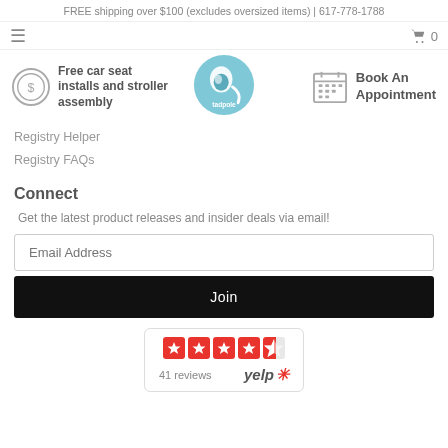FREE shipping over $100 (excludes oversized items) | 617-778-1788
Free car seat installs and stroller assembly
Registry Helper
Registry FAQs
Connect
Get the latest product releases and insider deals via email!
Email Address
Join
[Figure (logo): Yelp rating badge showing 4.5 stars and 41 reviews]